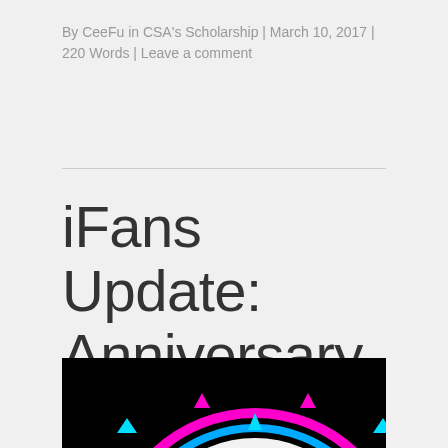By CeeFu in CSA's Scholarship | March 10, 2017 | 220 Words | Leave a comment
iFans Update: Anniversary Fan Projects
[Figure (illustration): Promotional graphic for iFans anniversary, black background with colorful circular ring design, two character avatars in circles (blue and green), triangle accents in cyan and pink around the ring, text reading SINCE 2009 and 5 YEARS WITH]